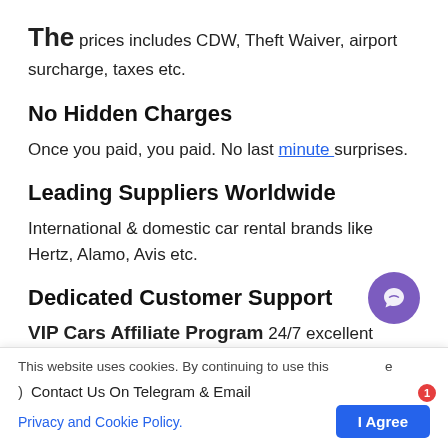The prices includes CDW, Theft Waiver, airport surcharge, taxes etc.
No Hidden Charges
Once you paid, you paid. No last minute surprises.
Leading Suppliers Worldwide
International & domestic car rental brands like Hertz, Alamo, Avis etc.
Dedicated Customer Support
VIP Cars Affiliate Program 24/7 excellent customer
This website uses cookies. By continuing to use this e
Contact Us On Telegram & Email
Privacy and Cookie Policy.
I Agree